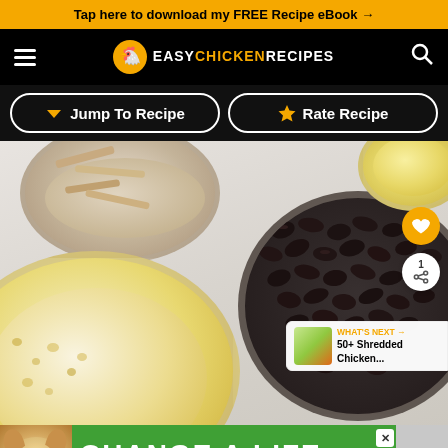Tap here to download my FREE Recipe eBook →
[Figure (logo): Easy Chicken Recipes logo with chicken icon on black navigation bar]
↓ Jump To Recipe
★ Rate Recipe
[Figure (photo): Overhead photo of recipe ingredients in glass bowls: shredded chicken (top), cream/hummus sauce (bottom left), black beans (right), corn (top right), on a light marble surface. Floating UI elements: orange heart save button, share button with count '1', and 'WHAT'S NEXT → 50+ Shredded Chicken...' panel.]
[Figure (photo): Advertisement banner: dog photo on green background with 'CHANGE A LIFE' text in white, close X button, and partner logo on right]